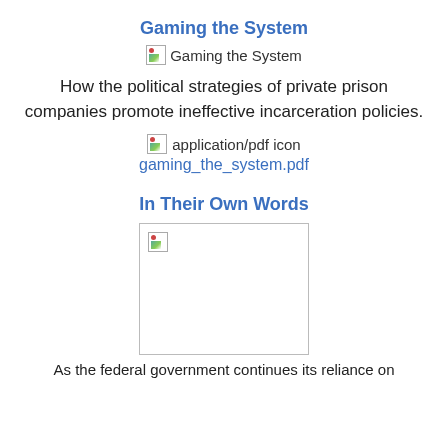Gaming the System
[Figure (illustration): Broken image placeholder for 'Gaming the System']
How the political strategies of private prison companies promote ineffective incarceration policies.
[Figure (illustration): Broken image placeholder for application/pdf icon]
gaming_the_system.pdf
In Their Own Words
[Figure (illustration): Broken image placeholder for an image related to 'In Their Own Words']
As the federal government continues its reliance on